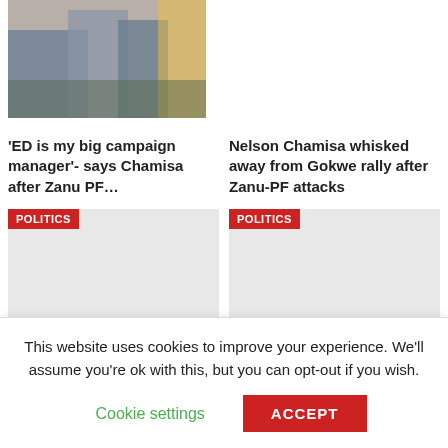[Figure (photo): Photo of people at a political rally or event, partially cropped]
'ED is my big campaign manager'- says Chamisa after Zanu PF…
Nelson Chamisa whisked away from Gokwe rally after Zanu-PF attacks
[Figure (photo): Placeholder image with POLITICS badge, left column]
[Figure (photo): Placeholder image with POLITICS badge, right column]
Chamisa admits learning the hard way, prioritises
Chamisa promises decent wages for military if he
This website uses cookies to improve your experience. We'll assume you're ok with this, but you can opt-out if you wish.
Cookie settings
ACCEPT